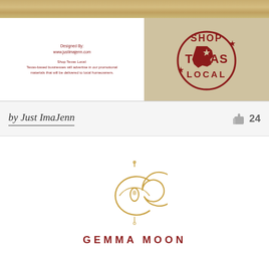[Figure (photo): Wood texture background bar at top]
[Figure (illustration): Business card mockup with two sides: left side shows 'Designed By: www.justimajenn.com' and 'Shop Texas Local: Texas-based businesses will advertise in our promotional materials that will be delivered to local homeowners.' Right side shows Shop Texas Local logo on kraft/tan background.]
Designed By:
www.justimajenn.com

Shop Texas Local:
Texas-based businesses will advertise in our promotional materials that will be delivered to local homeowners.
by Just ImaJenn
24
[Figure (logo): Gemma Moon logo: crescent moon with gem/teardrop shape inside, with a small chain/hook at top, rendered in gold/amber tones. Below the logo: GEMMA MOON in dark red spaced capitals.]